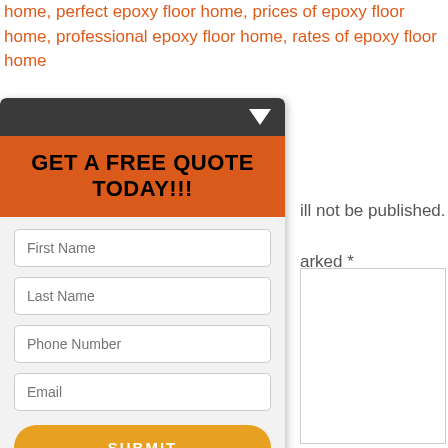home, perfect epoxy floor home, prices of epoxy floor home, professional epoxy floor home, rates of epoxy floor home
[Figure (screenshot): A modal widget with dark header bar containing a down arrow, orange 'GET A FREE QUOTE TODAY!!!' banner, a form with First Name, Last Name, Phone Number, Email fields, a yellow SUBMIT button, and a grey footer with 'VOID WHERE PROHIBITED.' text]
ill not be published. arked *